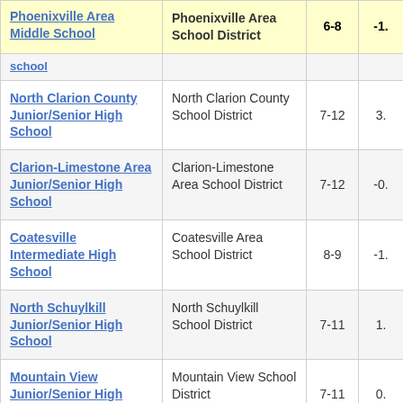| School | District | Grades | Value |
| --- | --- | --- | --- |
| Phoenixville Area Middle School | Phoenixville Area School District | 6-8 | -1. |
| (School - partial) |  |  |  |
| North Clarion County Junior/Senior High School | North Clarion County School District | 7-12 | 3. |
| Clarion-Limestone Area Junior/Senior High School | Clarion-Limestone Area School District | 7-12 | -0. |
| Coatesville Intermediate High School | Coatesville Area School District | 8-9 | -1. |
| North Schuylkill Junior/Senior High School | North Schuylkill School District | 7-11 | 1. |
| Mountain View Junior/Senior High School | Mountain View School District | 7-11 | 0. |